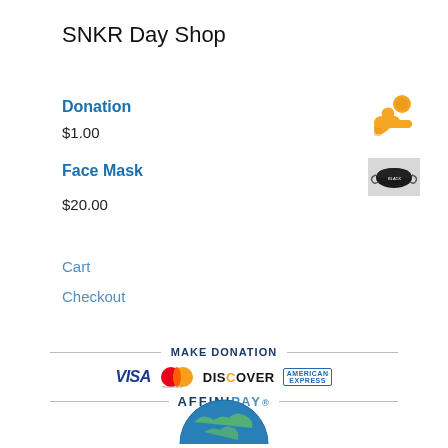SNKR Day Shop
Donation
$1.00
Face Mask
$20.00
Cart
Checkout
MAKE DONATION
[Figure (logo): Payment logos: VISA, Mastercard, DISCOVER, AMERICAN EXPRESS]
AFFINIPAY
[Figure (illustration): Partial globe/earth illustration at bottom]